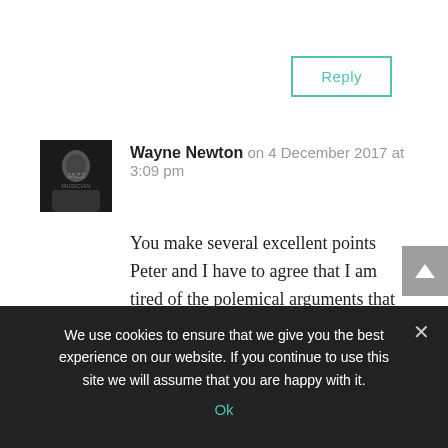[Figure (other): Reply button: teal/mint bordered button in upper right]
Wayne Newton on 4 December 2017 at 3:09 pm
You make several excellent points Peter and I have to agree that I am tired of the polemical arguments that PAS is either non existent or “an extension of abuse and attributable to high conflict” or “definitely exists but is too difficult to
We use cookies to ensure that we give you the best experience on our website. If you continue to use this site we will assume that you are happy with it.
Ok